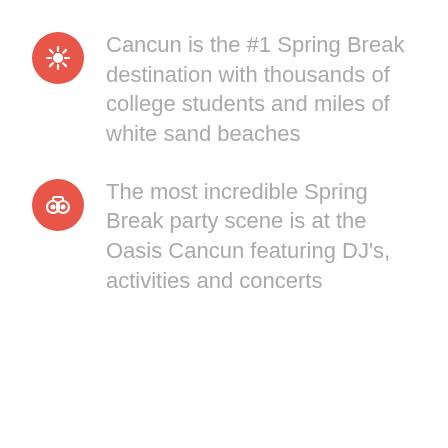Cancun is the #1 Spring Break destination with thousands of college students and miles of white sand beaches
The most incredible Spring Break party scene is at the Oasis Cancun featuring DJ's, activities and concerts